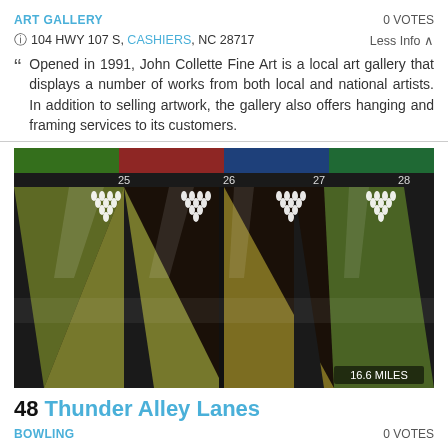ART GALLERY
0 VOTES
📍 104 HWY 107 S, CASHIERS, NC 28717
Less Info ^
Opened in 1991, John Collette Fine Art is a local art gallery that displays a number of works from both local and national artists. In addition to selling artwork, the gallery also offers hanging and framing services to its customers.
[Figure (photo): Interior view of Thunder Alley Lanes bowling alley showing lanes 25-28 with bowling pins set up, colored lighting illuminating the lanes in green, yellow, and purple hues. A distance badge reads 16.6 MILES.]
48 Thunder Alley Lanes
BOWLING
0 VOTES